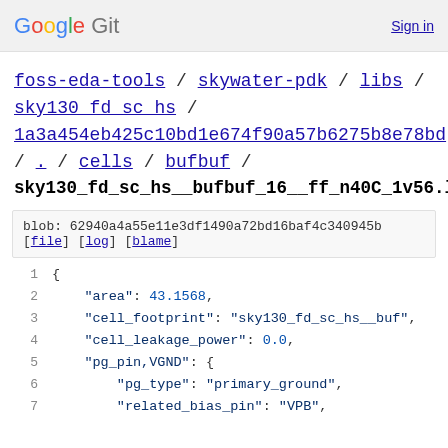Google Git  Sign in
foss-eda-tools / skywater-pdk / libs / sky130_fd_sc_hs / 1a3a454eb425c10bd1e674f90a57b6275b8e78bd / . / cells / bufbuf /
sky130_fd_sc_hs__bufbuf_16__ff_n40C_1v56.lib.json
blob: 62940a4a55e11e3df1490a72bd16baf4c340945b [file] [log] [blame]
1  {
2      "area": 43.1568,
3      "cell_footprint": "sky130_fd_sc_hs__buf",
4      "cell_leakage_power": 0.0,
5      "pg_pin,VGND": {
6          "pg_type": "primary_ground",
7          "related_bias_pin": "VPB",